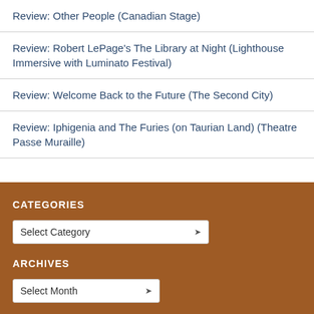Review: Other People (Canadian Stage)
Review: Robert LePage's The Library at Night (Lighthouse Immersive with Luminato Festival)
Review: Welcome Back to the Future (The Second City)
Review: Iphigenia and The Furies (on Taurian Land) (Theatre Passe Muraille)
CATEGORIES
ARCHIVES